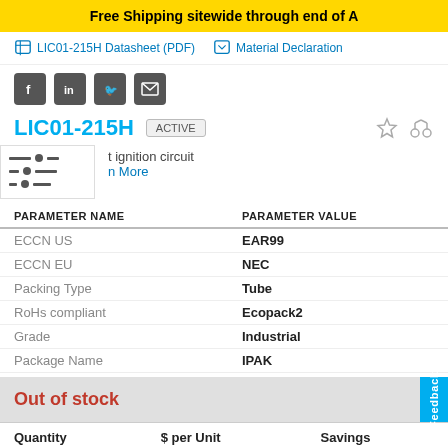Free Shipping sitewide through end of A
LIC01-215H Datasheet (PDF)   Material Declaration
[Figure (other): Social media sharing icons: Facebook, LinkedIn, Twitter, Email]
LIC01-215H  ACTIVE
t ignition circuit
n More
| PARAMETER NAME | PARAMETER VALUE |
| --- | --- |
| ECCN US | EAR99 |
| ECCN EU | NEC |
| Packing Type | Tube |
| RoHs compliant | Ecopack2 |
| Grade | Industrial |
| Package Name | IPAK |
Out of stock
| Quantity | $ per Unit | Savings |
| --- | --- | --- |
| 1 - 9 | $2.27 | 0% |